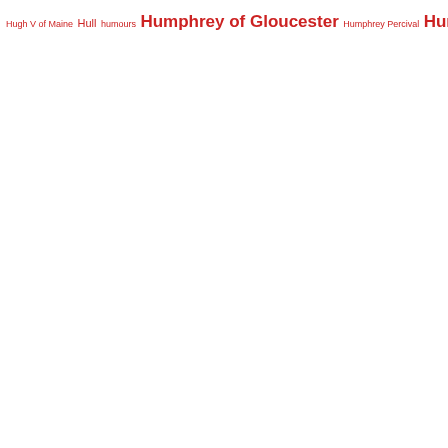Hugh V of Maine Hull humours Humphrey of Gloucester Humphrey Percival Humphrey Stafford hundred Hundred Years War hunting dog hut 8 Huuenots hyaena Hélias of Saint-Saëns Ian Mortimer iconoclasm Ida de Tosny Idonea de Vieuxpont Idonea de Vipont Ilbert de Lacy illegitimate children of Henry VIII illegitimate son of the Earl of Leicester Immortal Seven Imperial ambassador imperial coins Impositions Ine Inigo Jones Ipswich Ireland Irish Brigade Irish Jacobites Isabel Bradborune Isabel de Beaumont Isabel de Berkeley Isabel de Clare Isabel Despenser Isabel de Stanley Isabel Dethick Isabel Eland Isabel Hastings Isabella Isabella de Thornham Isabella de Vieuxpont Isabella de Vipont Isabella de Warenne Isabella le Despenser Isabella Markham Isabella Marshal Isabella Neville Isabella of Angouleme Isabella of Castile Isabella of France Isabella of Gloucester Isabella of Valois Isabella of Woodstock Isabella Vieuxpont Isabelle de Roet Isabelle of Castille Isabel Monbourcher Isabel Neville Isabel Thwaites Isidore of Seville Isle of Man Isle of Wight Isobel de Berkeley Isobel Despenser Isobel Neville Isobel of Angouleme